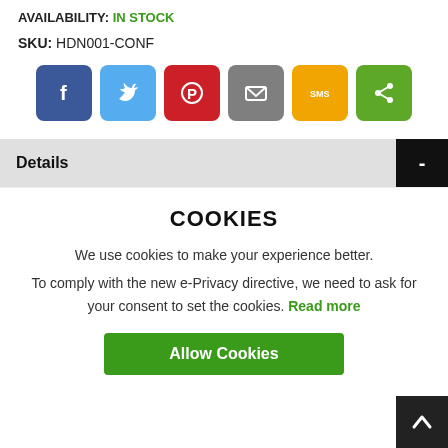AVAILABILITY: IN STOCK
SKU: HDN001-CONF
[Figure (infographic): Row of 6 social share buttons: Facebook (blue, f), Twitter (light blue, bird), Pinterest (red, P), Email (grey, envelope), SMS (yellow, SMS), Share (green, share icon)]
Details
COOKIES
We use cookies to make your experience better.
To comply with the new e-Privacy directive, we need to ask for your consent to set the cookies. Read more
Allow Cookies